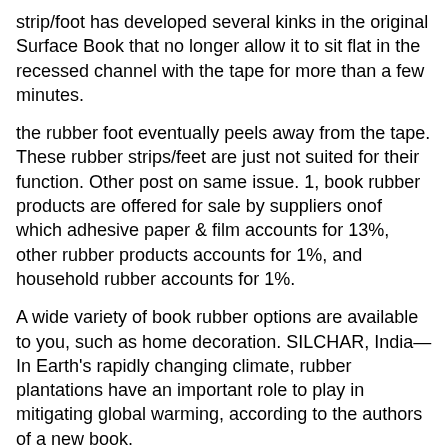strip/foot has developed several kinks in the original Surface Book that no longer allow it to sit flat in the recessed channel with the tape for more than a few minutes.
the rubber foot eventually peels away from the tape. These rubber strips/feet are just not suited for their function. Other post on same issue. 1, book rubber products are offered for sale by suppliers onof which adhesive paper & film accounts for 13%, other rubber products accounts for 1%, and household rubber accounts for 1%.
A wide variety of book rubber options are available to you, such as home decoration. SILCHAR, India—In Earth's rapidly changing climate, rubber plantations have an important role to play in mitigating global warming, according to the authors of a new book.
Rubber Plantations and Carbon Management, due out in September from Apple Academic Press, considers the role of rubber plantations in the context of carbon sequestration Author: Miles Moore.